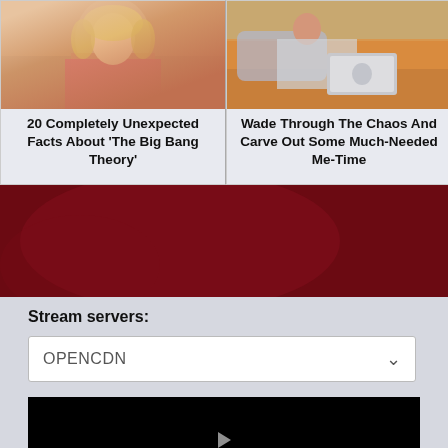[Figure (photo): Blonde woman in pink shirt, appears to be from TV show The Big Bang Theory]
[Figure (photo): Young woman with dark hair lying in bed with orange blankets, using a laptop]
20 Completely Unexpected Facts About 'The Big Bang Theory'
Wade Through The Chaos And Carve Out Some Much-Needed Me-Time
[Figure (infographic): Dark red advertisement banner reading FIRST SUSTAINABLE REBASE PROJECT and KYC/DOXXED PROTOCOL on the right]
Stream servers:
[Figure (screenshot): Dropdown selector showing OPENCDN option]
[Figure (screenshot): Black video player with cursor/play arrow at bottom]